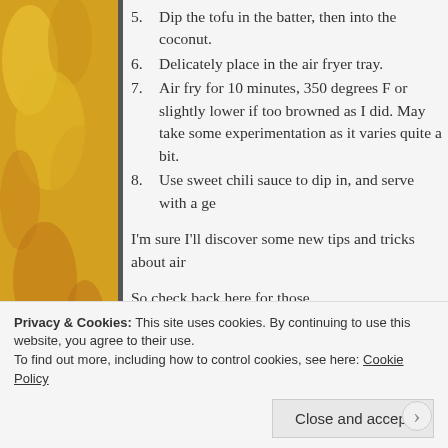[Figure (photo): Yellow bananas with dark spots on the left sidebar]
5. Dip the tofu in the batter, then into the coconut.
6. Delicately place in the air fryer tray.
7. Air fry for 10 minutes, 350 degrees F or slightly lower if too browned as I did. May take some experimentation as it varies quite a bit.
8. Use sweet chili sauce to dip in, and serve with a ge
I'm sure I'll discover some new tips and tricks about air
So check back here for those.
Until then, or until another recipe creation strikes!
Take care! xo
Privacy & Cookies: This site uses cookies. By continuing to use this website, you agree to their use.
To find out more, including how to control cookies, see here: Cookie Policy
Close and accept